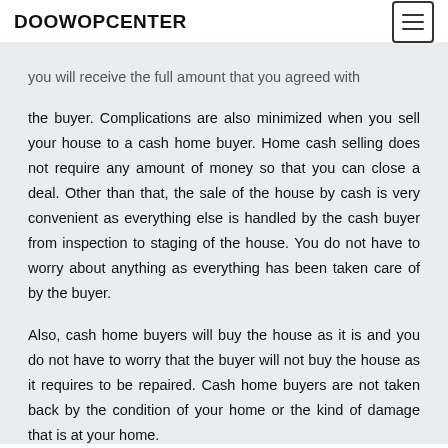DOOWOPCENTER
you will receive the full amount that you agreed with the buyer. Complications are also minimized when you sell your house to a cash home buyer. Home cash selling does not require any amount of money so that you can close a deal. Other than that, the sale of the house by cash is very convenient as everything else is handled by the cash buyer from inspection to staging of the house. You do not have to worry about anything as everything has been taken care of by the buyer.

Also, cash home buyers will buy the house as it is and you do not have to worry that the buyer will not buy the house as it requires to be repaired. Cash home buyers are not taken back by the condition of your home or the kind of damage that is at your home.